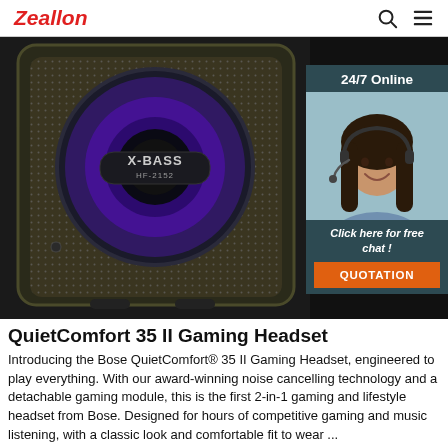Zeallon
[Figure (photo): Close-up of an X-BASS HF-2152 portable Bluetooth speaker with purple/blue LED lighting on the speaker grille, set against a dark background. On the right side, a customer service chat widget with '24/7 Online' header, a photo of a smiling woman wearing a headset, text 'Click here for free chat!' and an orange QUOTATION button.]
QuietComfort 35 II Gaming Headset
Introducing the Bose QuietComfort® 35 II Gaming Headset, engineered to play everything. With our award-winning noise cancelling technology and a detachable gaming module, this is the first 2-in-1 gaming and lifestyle headset from Bose. Designed for hours of competitive gaming and music listening, with a classic look and comfortable fit to wear ...